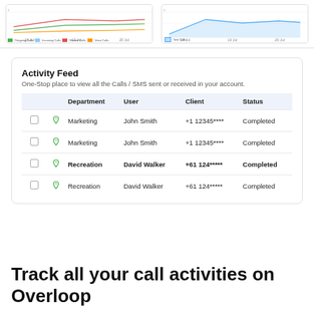[Figure (screenshot): Two line charts side by side showing call analytics (Outgoing Calls, Incoming Calls, Missed Calls, Voice Calls / Total Calls) over dates 18 Jul, 19 Jul, 20 Jul]
Activity Feed
One-Stop place to view all the Calls / SMS sent or received in your account.
|  |  | Department | User | Client | Status |
| --- | --- | --- | --- | --- | --- |
| ☐ | ↩ | Marketing | John Smith | +1 12345**** | Completed |
| ☐ | ↩ | Marketing | John Smith | +1 12345**** | Completed |
| ☐ | ↩ | Recreation | David Walker | +61 124***** | Completed |
| ☐ | ↩ | Recreation | David Walker | +61 124***** | Completed |
Track all your call activities on Overloop